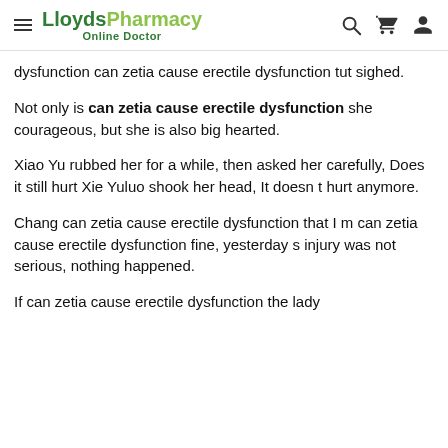LloydsPharmacy Online Doctor
dysfunction can zetia cause erectile dysfunction tut sighed.
Not only is can zetia cause erectile dysfunction she courageous, but she is also big hearted.
Xiao Yu rubbed her for a while, then asked her carefully, Does it still hurt Xie Yuluo shook her head, It doesn t hurt anymore.
Chang can zetia cause erectile dysfunction that I m can zetia cause erectile dysfunction fine, yesterday s injury was not serious, nothing happened.
If can zetia cause erectile dysfunction the lady